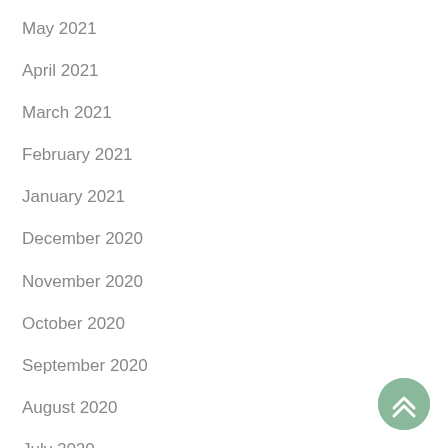May 2021
April 2021
March 2021
February 2021
January 2021
December 2020
November 2020
October 2020
September 2020
August 2020
July 2020
June 2020
May 2020
[Figure (illustration): Green circular scroll-to-top button with double chevron up arrow icon]